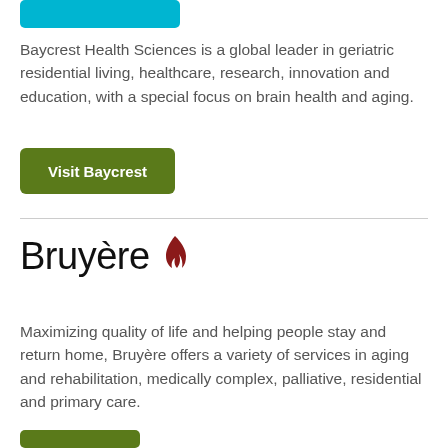[Figure (logo): Partial cyan/teal rounded button or banner at the top]
Baycrest Health Sciences is a global leader in geriatric residential living, healthcare, research, innovation and education, with a special focus on brain health and aging.
[Figure (other): Green 'Visit Baycrest' button]
[Figure (logo): Bruyere logo with flame icon in dark red]
Maximizing quality of life and helping people stay and return home, Bruyère offers a variety of services in aging and rehabilitation, medically complex, palliative, residential and primary care.
[Figure (other): Partial green button at bottom]